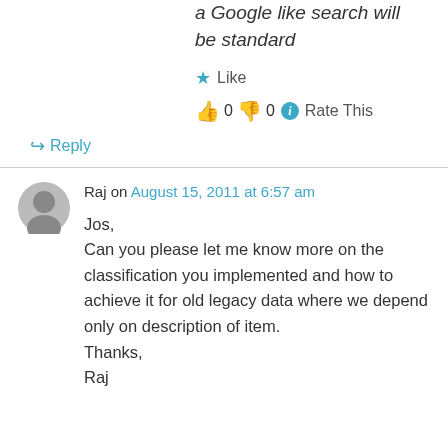a Google like search will be standard
★ Like
👍 0 👎 0 ℹ Rate This
↪ Reply
Raj on August 15, 2011 at 6:57 am
Jos,
Can you please let me know more on the classification you implemented and how to achieve it for old legacy data where we depend only on description of item.
Thanks,
Raj